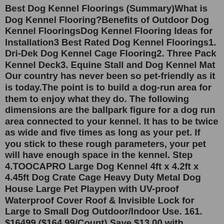Best Dog Kennel Floorings (Summary)What is Dog Kennel Flooring?Benefits of Outdoor Dog Kennel FlooringsDog Kennel Flooring Ideas for Installation3 Best Rated Dog Kennel Floorings1. Dri-Dek Dog Kennel Cage Flooring2. Three Pack Kennel Deck3. Equine Stall and Dog Kennel Mat Our country has never been so pet-friendly as it is today.The point is to build a dog-run area for them to enjoy what they do. The following dimensions are the ballpark figure for a dog run area connected to your kennel. It has to be twice as wide and five times as long as your pet. If you stick to these rough parameters, your pet will have enough space in the kennel. Step 4.TOOCAPRO Large Dog Kennel 4ft x 4.2ft x 4.45ft Dog Crate Cage Heavy Duty Metal Dog House Large Pet Playpen with UV-proof Waterproof Cover Roof & Invisible Lock for Large to Small Dog Outdoor/Indoor Use. 161. $16499 ($164.99/Count) Save $13.00 with coupon. Get it Wed, Jul 27 - Fri, Jul 29.TOOCAPRO Large Dog Kennel 4ft x 4.2ft x 4.45ft Dog Crate Cage Heavy Duty Metal Dog House Large Pet Playpen with UV...